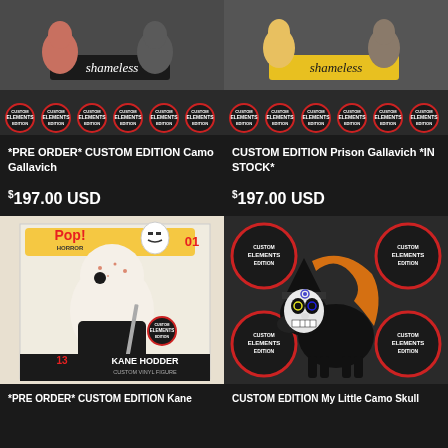[Figure (photo): Shameless Funko Pop custom edition Camo Gallavich figures displayed on a table with Custom Elements branded circular stickers]
[Figure (photo): Shameless Funko Pop custom edition Prison Gallavich figures displayed on a table with Custom Elements branded circular stickers and yellow background sign]
*PRE ORDER* CUSTOM EDITION Camo Gallavich
CUSTOM EDITION Prison Gallavich *IN STOCK*
$197.00 USD
$197.00 USD
[Figure (photo): Custom Pop! Horror Kane Hodder #01 custom vinyl figure in box, labeled 13, Custom Elements edition]
[Figure (photo): Custom Edition My Little Pony figure in black with orange glitter mane and Day of the Dead sugar skull face mask, displayed against Custom Elements logo backdrop]
*PRE ORDER* CUSTOM EDITION Kane
CUSTOM EDITION My Little Camo Skull